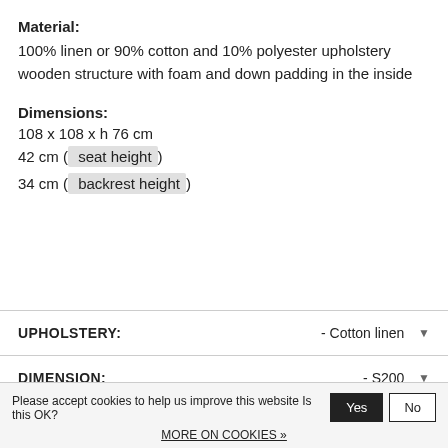Material:
100% linen or 90% cotton and 10% polyester upholstery wooden structure with foam and down padding in the inside
Dimensions:
108 x 108 x h 76 cm
42 cm ( seat height)
34 cm ( backrest height)
UPHOLSTERY:
- Cotton linen
DIMENSION:
- S200
Please accept cookies to help us improve this website Is this OK?
MORE ON COOKIES »